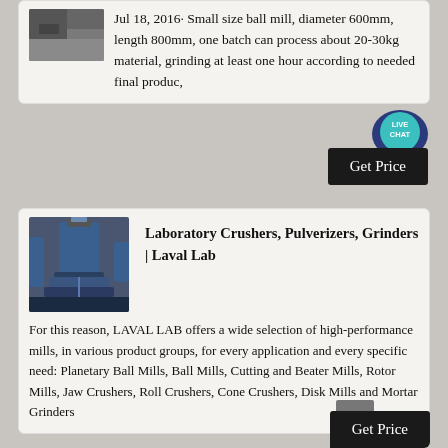Jul 18, 2016· Small size ball mill, diameter 600mm, length 800mm, one batch can process about 20-30kg material, grinding at least one hour according to needed final produc,
[Figure (photo): Partial image of industrial ball mill equipment, top portion visible]
[Figure (other): Live Chat speech bubble icon in teal/dark blue]
[Figure (other): Get Price black button]
[Figure (photo): Industrial laboratory crusher or grinder equipment - vertical cylindrical machine with blue/dark coloring, industrial setting]
Laboratory Crushers, Pulverizers, Grinders | Laval Lab
For this reason, LAVAL LAB offers a wide selection of high-performance mills, in various product groups, for every application and every specific need: Planetary Ball Mills, Ball Mills, Cutting and Beater Mills, Rotor Mills, Jaw Crushers, Roll Crushers, Cone Crushers, Disk Mills and Mortar Grinders
[Figure (other): Get Price black button]
[Figure (other): Back to top arrow button in grey]